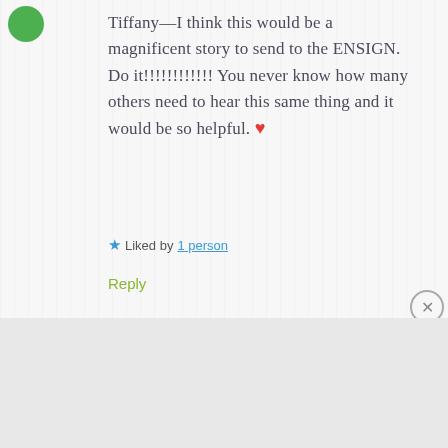Tiffany—I think this would be a magnificent story to send to the ENSIGN. Do it!!!!!!!!!!!! You never know how many others need to hear this same thing and it would be so helpful. ❤
★ Liked by 1 person
Reply
[Figure (screenshot): DuckDuckGo advertisement banner: orange background with text 'Search, browse, and email with more privacy. All in One Free App' and a phone showing DuckDuckGo logo]